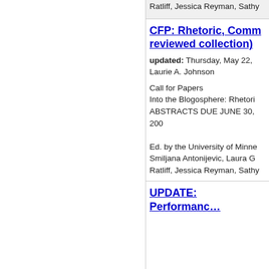Ratliff, Jessica Reyman, Sathy
CFP: Rhetoric, Comm… reviewed collection)
updated: Thursday, May 22,
Laurie A. Johnson
Call for Papers
Into the Blogosphere: Rhetori
ABSTRACTS DUE JUNE 30, 200
Ed. by the University of Minne
Smiljana Antonijevic, Laura G
Ratliff, Jessica Reyman, Sathy
UPDATE: Performanc…